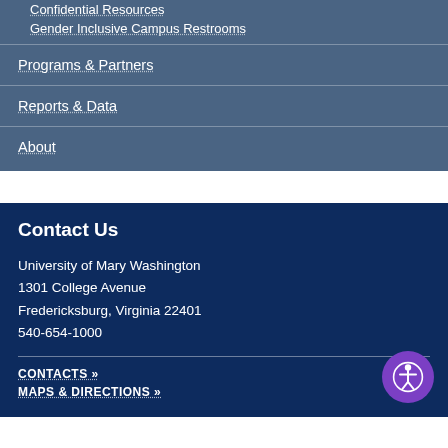Confidential Resources
Gender Inclusive Campus Restrooms
Programs & Partners
Reports & Data
About
Contact Us
University of Mary Washington
1301 College Avenue
Fredericksburg, Virginia 22401
540-654-1000
CONTACTS »
MAPS & DIRECTIONS »